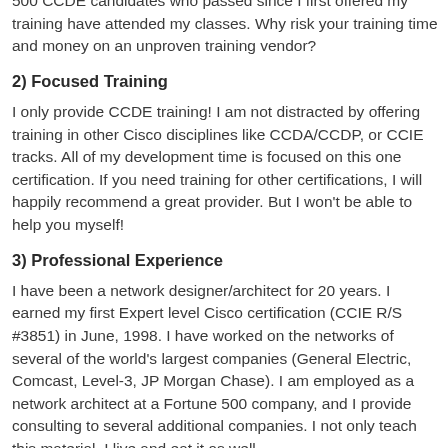500 CCDE candidates who passed since I first offered my training have attended my classes. Why risk your training time and money on an unproven training vendor?
2) Focused Training
I only provide CCDE training! I am not distracted by offering training in other Cisco disciplines like CCDA/CCDP, or CCIE tracks. All of my development time is focused on this one certification. If you need training for other certifications, I will happily recommend a great provider. But I won't be able to help you myself!
3) Professional Experience
I have been a network designer/architect for 20 years. I earned my first Expert level Cisco certification (CCIE R/S #3851) in June, 1998. I have worked on the networks of several of the world's largest companies (General Electric, Comcast, Level-3, JP Morgan Chase). I am employed as a network architect at a Fortune 500 company, and I provide consulting to several additional companies. I not only teach this material, I live and eat it as well...